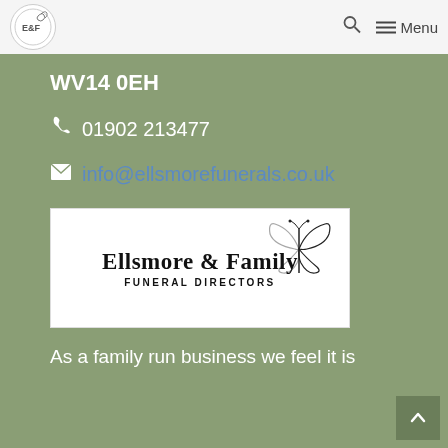E&F [logo] Menu
WV14 0EH
01902 213477
info@ellsmorefunerals.co.uk
[Figure (logo): Ellsmore & Family Funeral Directors logo with butterfly illustration]
As a family run business we feel it is